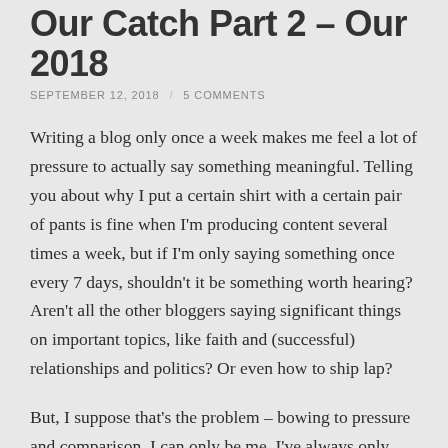Our Catch Part 2 – Our 2018
SEPTEMBER 12, 2018 / 5 COMMENTS
Writing a blog only once a week makes me feel a lot of pressure to actually say something meaningful. Telling you about why I put a certain shirt with a certain pair of pants is fine when I'm producing content several times a week, but if I'm only saying something once every 7 days, shouldn't it be something worth hearing? Aren't all the other bloggers saying significant things on important topics, like faith and (successful) relationships and politics? Or even how to ship lap?
But, I suppose that's the problem – bowing to pressure and comparison. I can only be me. I've always only been able to be me, and any attempt to do otherwise has failed miserably (cue awkward memories of high school and college). And you can only be you. Sure, we all want